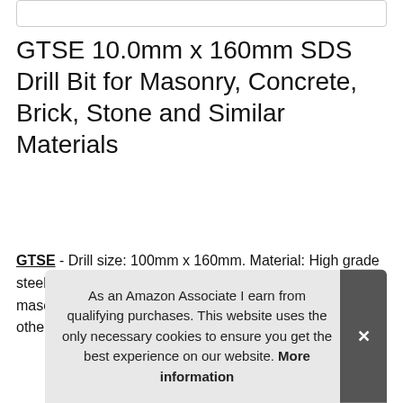GTSE 10.0mm x 160mm SDS Drill Bit for Masonry, Concrete, Brick, Stone and Similar Materials
GTSE - Drill size: 100mm x 160mm. Material: High grade steel. Package contains: 1 SDS Drill Bit Metric. Perfect for masonry, and cutting through brick, concrete, stone and other similar materials.
As an Amazon Associate I earn from qualifying purchases. This website uses the only necessary cookies to ensure you get the best experience on our website. More information